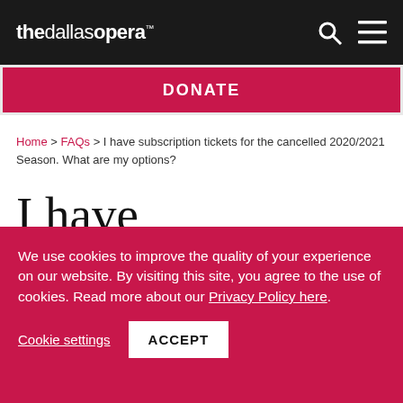the dallas opera
DONATE
Home > FAQs > I have subscription tickets for the cancelled 2020/2021 Season. What are my options?
I have subscription tickets for the cancelled 2020/2021 Season. What
We use cookies to improve the quality of your experience on our website. By visiting this site, you agree to the use of cookies. Read more about our Privacy Policy here.
Cookie settings  ACCEPT